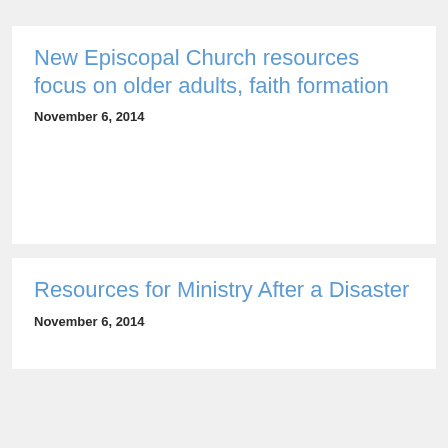New Episcopal Church resources focus on older adults, faith formation
November 6, 2014
Resources for Ministry After a Disaster
November 6, 2014